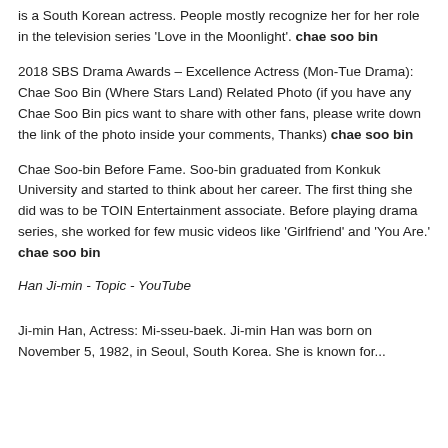is a South Korean actress. People mostly recognize her for her role in the television series 'Love in the Moonlight'. chae soo bin
2018 SBS Drama Awards – Excellence Actress (Mon-Tue Drama): Chae Soo Bin (Where Stars Land) Related Photo (if you have any Chae Soo Bin pics want to share with other fans, please write down the link of the photo inside your comments, Thanks) chae soo bin
Chae Soo-bin Before Fame. Soo-bin graduated from Konkuk University and started to think about her career. The first thing she did was to be TOIN Entertainment associate. Before playing drama series, she worked for few music videos like 'Girlfriend' and 'You Are.' chae soo bin
Han Ji-min - Topic - YouTube
Ji-min Han, Actress: Mi-sseu-baek. Ji-min Han was born on November 5, 1982, in Seoul, South Korea. She is known for...